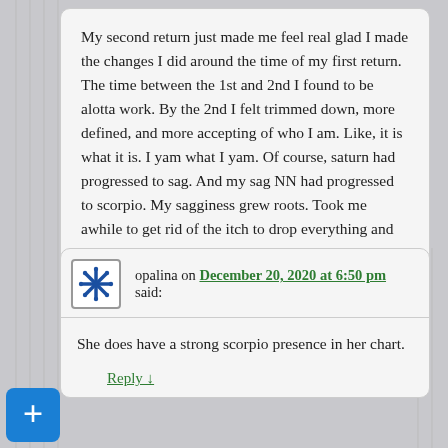My second return just made me feel real glad I made the changes I did around the time of my first return. The time between the 1st and 2nd I found to be alotta work. By the 2nd I felt trimmed down, more defined, and more accepting of who I am. Like, it is what it is. I yam what I yam. Of course, saturn had progressed to sag. And my sag NN had progressed to scorpio. My sagginess grew roots. Took me awhile to get rid of the itch to drop everything and go somewhere new. It’s not even a distant memory any more.
Reply ↓
opalina on December 20, 2020 at 6:50 pm said:
She does have a strong scorpio presence in her chart.
Reply ↓